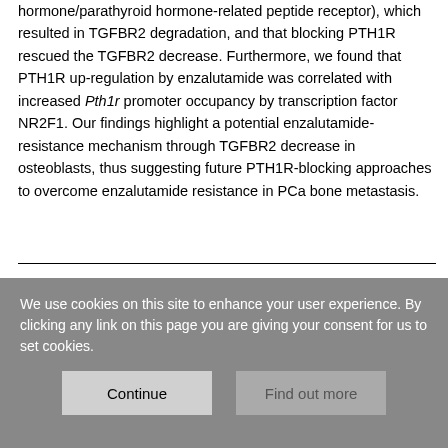hormone/parathyroid hormone-related peptide receptor), which resulted in TGFBR2 degradation, and that blocking PTH1R rescued the TGFBR2 decrease. Furthermore, we found that PTH1R up-regulation by enzalutamide was correlated with increased Pth1r promoter occupancy by transcription factor NR2F1. Our findings highlight a potential enzalutamide-resistance mechanism through TGFBR2 decrease in osteoblasts, thus suggesting future PTH1R-blocking approaches to overcome enzalutamide resistance in PCa bone metastasis.
Copyright: The copyright holder for this preprint is the author/funder, who has granted bioRxiv a licence to display the preprint in perpetuity.
We use cookies on this site to enhance your user experience. By clicking any link on this page you are giving your consent for us to set cookies.